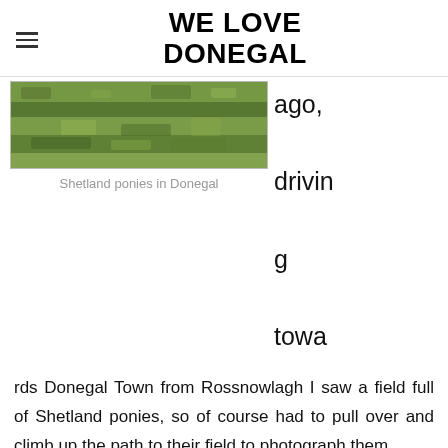WE LOVE DONEGAL
[Figure (photo): Aerial/landscape view of a grassy field with green grass and moss, showing Shetland ponies in Donegal]
Shetland ponies in Donegal
ago, driving towards Donegal Town from Rossnowlagh I saw a field full of Shetland ponies, so of course had to pull over and climb up the path to their field to photograph them.
Once there I was delighted to see a tiny foal. It really was the cutest thing, almost like a toy rather than an actual animal. They were a very curious bunch of ponies and came dashing over to the fence to me to pet.